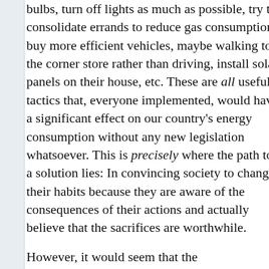bulbs, turn off lights as much as possible, try to consolidate errands to reduce gas consumption, buy more efficient vehicles, maybe walking to the corner store rather than driving, install solar panels on their house, etc. These are all useful tactics that, everyone implemented, would have a significant effect on our country's energy consumption without any new legislation whatsoever. This is precisely where the path to a solution lies: In convincing society to change their habits because they are aware of the consequences of their actions and actually believe that the sacrifices are worthwhile.

However, it would seem that the environmentalist movement has now shown its true colors. They are no longer interested in making their case to the public. Convincing the public requires no legislative action, no bureaucracy, and no fundamental changes to our economy. It just involves convincing people of the